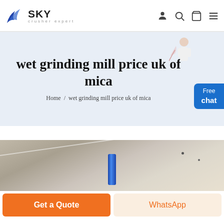SKY crusher expert
wet grinding mill price uk of mica
Home / wet grinding mill price uk of mica
[Figure (photo): Close-up photo of industrial grinding mill equipment, showing a blue cylindrical pipe/roller against concrete surfaces]
Get a Quote
WhatsApp